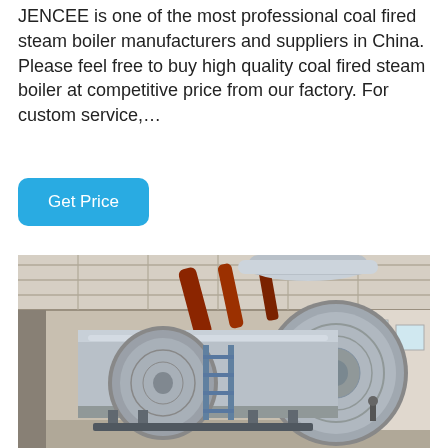JENCEE is one of the most professional coal fired steam boiler manufacturers and suppliers in China. Please feel free to buy high quality coal fired steam boiler at competitive price from our factory. For custom service,...
Get Price
[Figure (photo): Industrial coal fired steam boilers inside a large factory building. Two large cylindrical silver/metallic horizontal boilers are visible with blue scaffolding and red pipes overhead. The building has a white ceiling with structural beams and windows on the right side.]